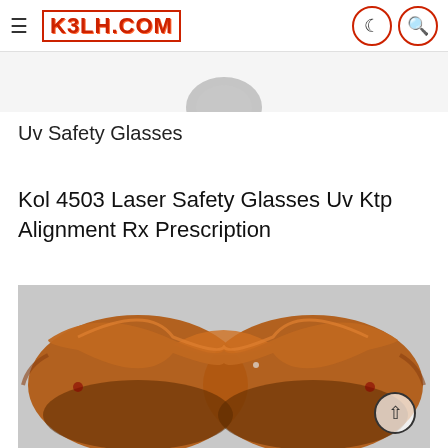K3LH.COM
[Figure (photo): Partial cropped view of a small metallic/grey circular object at the top of the page, cut off by the header]
Uv Safety Glasses
Kol 4503 Laser Safety Glasses Uv Ktp Alignment Rx Prescription
[Figure (photo): Close-up photo of orange/amber tinted laser safety glasses (Kol 4503) viewed from the front, showing the wraparound style amber lenses and frame against a light grey background]